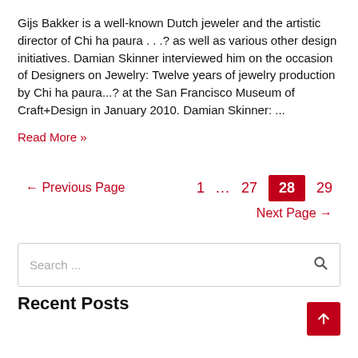Gijs Bakker is a well-known Dutch jeweler and the artistic director of Chi ha paura . . .? as well as various other design initiatives. Damian Skinner interviewed him on the occasion of Designers on Jewelry: Twelve years of jewelry production by Chi ha paura...? at the San Francisco Museum of Craft+Design in January 2010. Damian Skinner: ...
Read More »
← Previous Page   1   ...   27   28   29   Next Page →
Search ...
Recent Posts